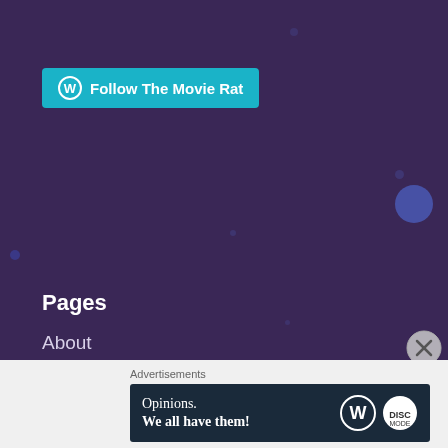[Figure (other): Follow The Movie Rat button with WordPress icon on dark purple starfield background]
Pages
About
Social Media
The Movie Rat
Podcast Guest Appearances
Guest Posts
Advertisements
[Figure (other): Advertisement banner: Opinions. We all have them! with WordPress and another logo]